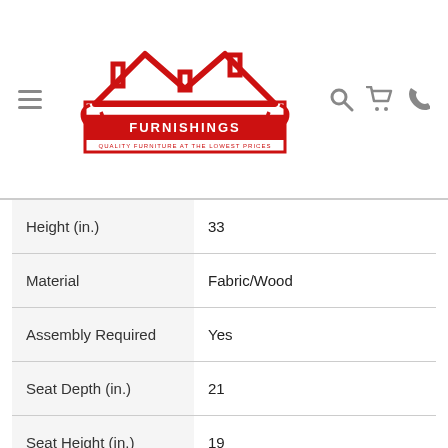Esencia Home Furnishings — navigation header with logo, hamburger menu, search, cart, and phone icons
| Attribute | Value |
| --- | --- |
| Height (in.) | 33 |
| Material | Fabric/Wood |
| Assembly Required | Yes |
| Seat Depth (in.) | 21 |
| Seat Height (in.) | 19 |
| Arm Type | Track Arm |
| Sectional Type | Stationary |